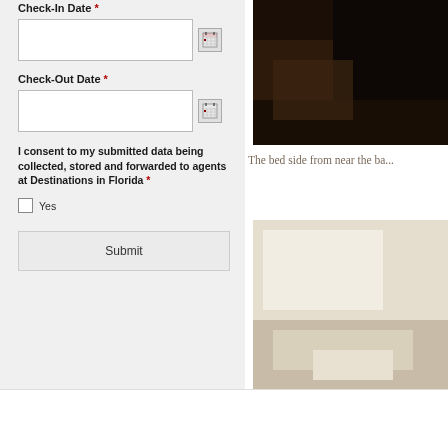Check-In Date *
Check-Out Date *
I consent to my submitted data being collected, stored and forwarded to agents at Destinations in Florida *
Yes
Submit
The bed side from near the ba...
[Figure (photo): Dark bedroom photo, bedside area]
[Figure (photo): Light-colored bedroom/bathroom interior photo]